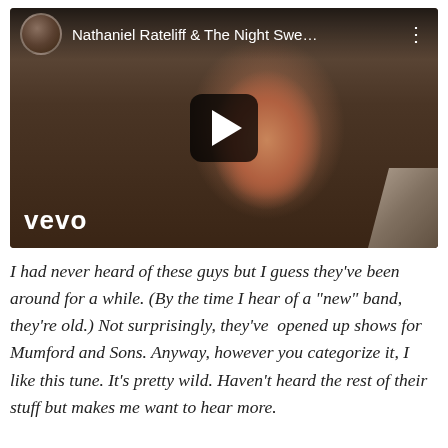[Figure (screenshot): YouTube/Vevo video thumbnail showing Nathaniel Rateliff & The Night Swe... with a bearded man in a black hat, play button overlay, vevo watermark bottom left, and channel avatar top left]
I had never heard of these guys but I guess they've been around for a while. (By the time I hear of a "new" band, they're old.) Not surprisingly, they've opened up shows for Mumford and Sons. Anyway, however you categorize it, I like this tune. It's pretty wild. Haven't heard the rest of their stuff but makes me want to hear more.